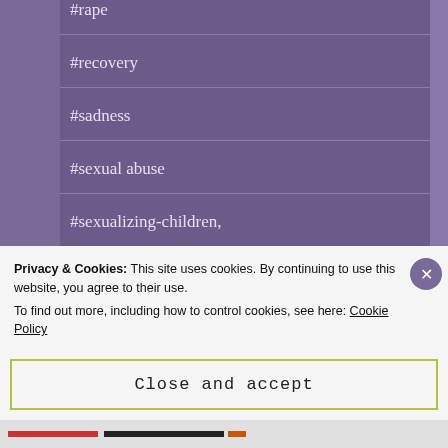#rape
#recovery
#sadness
#sexual abuse
#sexualizing-children,
#stomach pain
#stomach problems
#strength (partial)
Privacy & Cookies: This site uses cookies. By continuing to use this website, you agree to their use.
To find out more, including how to control cookies, see here: Cookie Policy
Close and accept